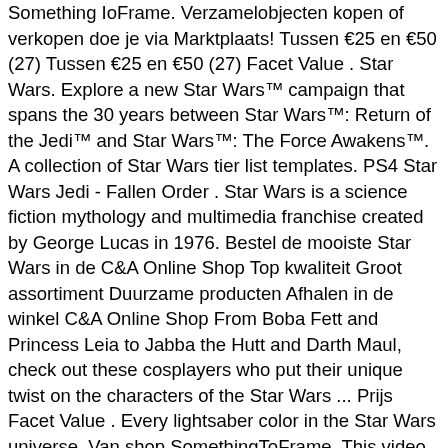Something IoFrame. Verzamelobjecten kopen of verkopen doe je via Marktplaats! Tussen €25 en €50 (27) Tussen €25 en €50 (27) Facet Value . Star Wars. Explore a new Star Wars™ campaign that spans the 30 years between Star Wars™: Return of the Jedi™ and Star Wars™: The Force Awakens™. A collection of Star Wars tier list templates. PS4 Star Wars Jedi - Fallen Order . Star Wars is a science fiction mythology and multimedia franchise created by George Lucas in 1976. Bestel de mooiste Star Wars in de C&A Online Shop Top kwaliteit Groot assortiment Duurzame producten Afhalen in de winkel C&A Online Shop From Boba Fett and Princess Leia to Jabba the Hutt and Darth Maul, check out these cosplayers who put their unique twist on the characters of the Star Wars ... Prijs Facet Value . Every lightsaber color in the Star Wars universe. Van shop SomethingToFrame. This video is unavailable. Directed by J.J. Abrams. Watch Queue Queue Discover the exciting world of Star Wars with LEGO® Star Wars™ construction sets. Star Wars Tier List Templates. 9.425 aanbiedingen in januari - Koop of Verkoop star wars op Marktplaats - Bekijk Lokale Aanbiedingen! Maak je verzameling